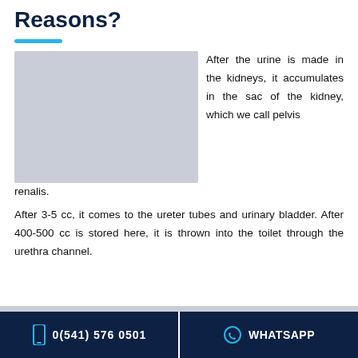Reasons?
[Figure (photo): Gray placeholder image representing a medical or anatomical illustration]
After the urine is made in the kidneys, it accumulates in the sac of the kidney, which we call pelvis renalis.
After 3-5 cc, it comes to the ureter tubes and urinary bladder. After 400-500 cc is stored here, it is thrown into the toilet through the urethra channel.
0(541) 576 0501   WHATSAPP